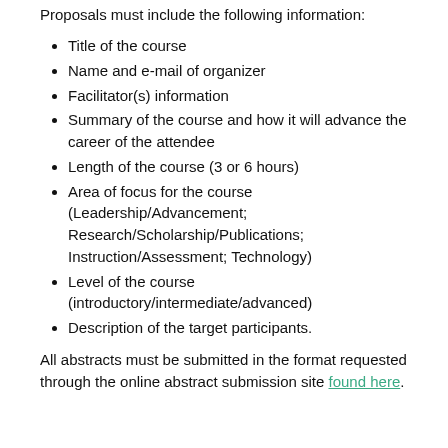Proposals must include the following information:
Title of the course
Name and e-mail of organizer
Facilitator(s) information
Summary of the course and how it will advance the career of the attendee
Length of the course (3 or 6 hours)
Area of focus for the course (Leadership/Advancement; Research/Scholarship/Publications; Instruction/Assessment; Technology)
Level of the course (introductory/intermediate/advanced)
Description of the target participants.
All abstracts must be submitted in the format requested through the online abstract submission site found here.